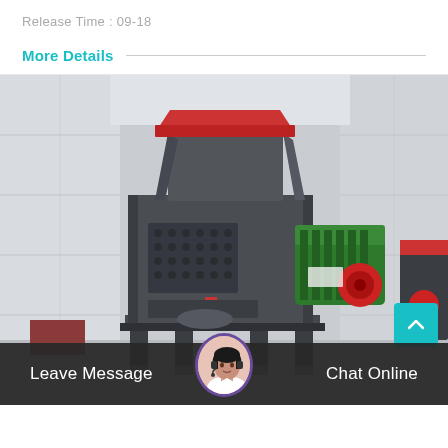Release Time : 09-18
More Details
[Figure (photo): Industrial shredder/crusher machine with dark grey body, red hopper top, green motor unit on the side, mounted on a steel frame, photographed in a factory/warehouse setting.]
Leave Message
Chat Online